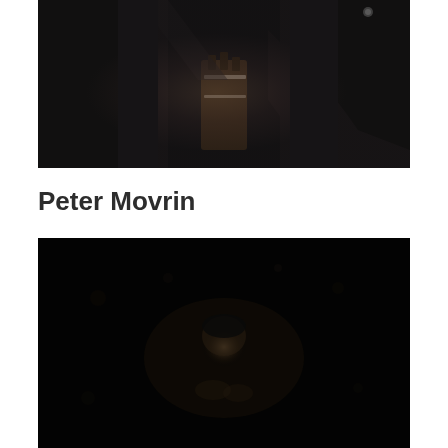[Figure (photo): Dark photograph of a person in a black jacket/coat holding what appears to be a musical instrument (possibly a conductor's baton or similar), set against a very dark background. Close-up torso shot.]
Peter Movrin
[Figure (photo): Dark photograph of a person, likely a conductor or musician, photographed against a very dark/black background with some soft light illuminating the subject's head and hands area.]